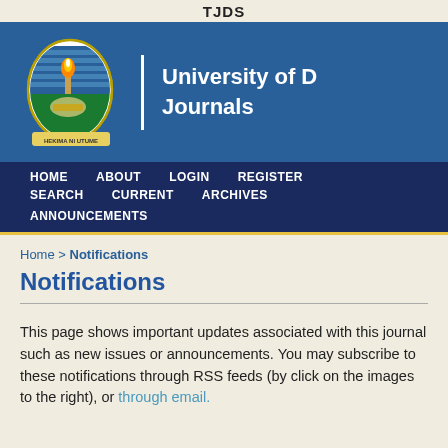TJDS
[Figure (logo): University of Dar es Salaam crest/coat of arms logo with flame, waves, and motto banner 'HEKIMA NI UTUME', next to bold white text 'University of D... Journals' on blue background]
HOME   ABOUT   LOGIN   REGISTER   SEARCH   CURRENT   ARCHIVES   ANNOUNCEMENTS
Home > Notifications
Notifications
This page shows important updates associated with this journal such as new issues or announcements. You may subscribe to these notifications through RSS feeds (by click on the images to the right), or through email.